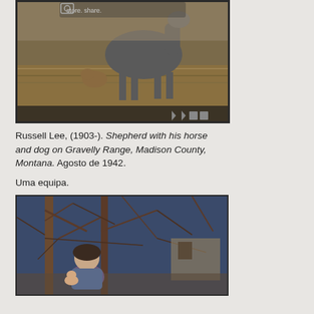[Figure (photo): Photograph of a shepherd with his horse and dog on Gravelly Range, Montana, 1942. A dog sits beside a horse in a field of dry grass.]
Russell Lee, (1903-). Shepherd with his horse and dog on Gravelly Range, Madison County, Montana. Agosto de 1942.
Uma equipa.
[Figure (photo): Photograph of a young girl holding a doll, standing in front of bare tree branches against a dark blue sky background.]